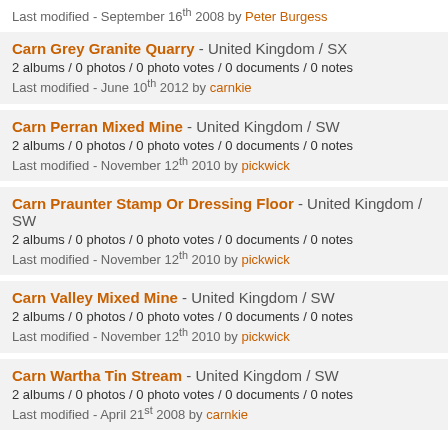Last modified - September 16th 2008 by Peter Burgess
Carn Grey Granite Quarry - United Kingdom / SX
2 albums / 0 photos / 0 photo votes / 0 documents / 0 notes
Last modified - June 10th 2012 by carnkie
Carn Perran Mixed Mine - United Kingdom / SW
2 albums / 0 photos / 0 photo votes / 0 documents / 0 notes
Last modified - November 12th 2010 by pickwick
Carn Praunter Stamp Or Dressing Floor - United Kingdom / SW
2 albums / 0 photos / 0 photo votes / 0 documents / 0 notes
Last modified - November 12th 2010 by pickwick
Carn Valley Mixed Mine - United Kingdom / SW
2 albums / 0 photos / 0 photo votes / 0 documents / 0 notes
Last modified - November 12th 2010 by pickwick
Carn Wartha Tin Stream - United Kingdom / SW
2 albums / 0 photos / 0 photo votes / 0 documents / 0 notes
Last modified - April 21st 2008 by carnkie